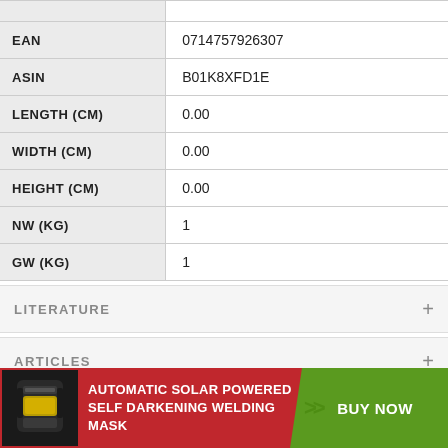| Field | Value |
| --- | --- |
| EAN | 0714757926307 |
| ASIN | B01K8XFD1E |
| LENGTH (CM) | 0.00 |
| WIDTH (CM) | 0.00 |
| HEIGHT (CM) | 0.00 |
| NW (KG) | 1 |
| GW (KG) | 1 |
LITERATURE
ARTICLES
VIDEO
AUTOMATIC SOLAR POWERED SELF DARKENING WELDING MASK BUY NOW